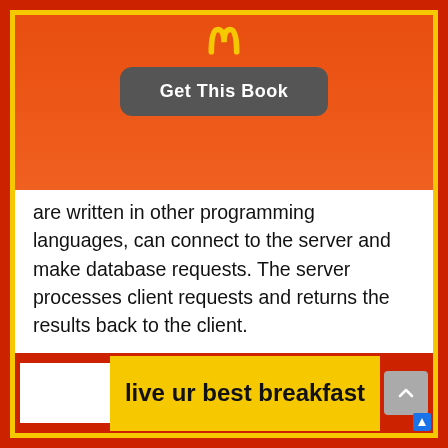[Figure (logo): McDonald's golden arches logo in yellow on orange background at top center]
Get This Book
are written in other programming languages, can connect to the server and make database requests. The server processes client requests and returns the results back to the client.
A client can either reside on the same system as the server or on a remote host and send database requests over a network or internet connection to the server. Importantly, the MySQL server must be running for clients to connect to it.
live ur best breakfast